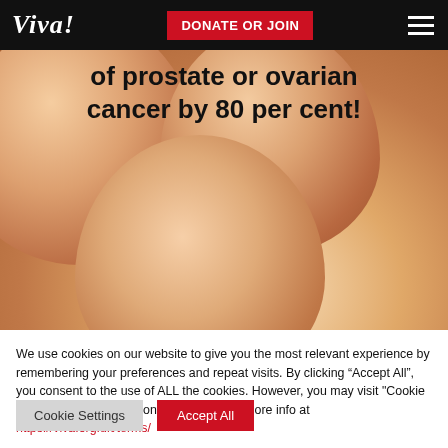Viva! | DONATE OR JOIN
[Figure (photo): Close-up photo of brown eggs with overlaid text: 'of prostate or ovarian cancer by 80 per cent!']
We use cookies on our website to give you the most relevant experience by remembering your preferences and repeat visits. By clicking “Accept All”, you consent to the use of ALL the cookies. However, you may visit "Cookie Settings" to provide a controlled consent. More info at https://viva.org.uk/terms/
Cookie Settings | Accept All